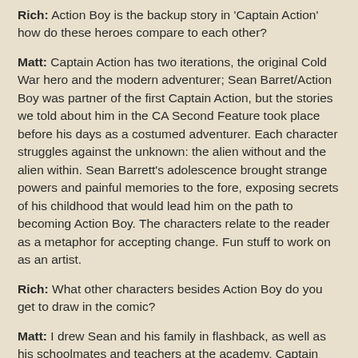Rich: Action Boy is the backup story in 'Captain Action' how do these heroes compare to each other?
Matt: Captain Action has two iterations, the original Cold War hero and the modern adventurer; Sean Barret/Action Boy was partner of the first Captain Action, but the stories we told about him in the CA Second Feature took place before his days as a costumed adventurer. Each character struggles against the unknown: the alien without and the alien within. Sean Barrett's adolescence brought strange powers and painful memories to the fore, exposing secrets of his childhood that would lead him on the path to becoming Action Boy. The characters relate to the reader as a metaphor for accepting change. Fun stuff to work on as an artist.
Rich: What other characters besides Action Boy do you get to draw in the comic?
Matt: I drew Sean and his family in flashback, as well as his schoolmates and teachers at the academy, Captain Action among them.